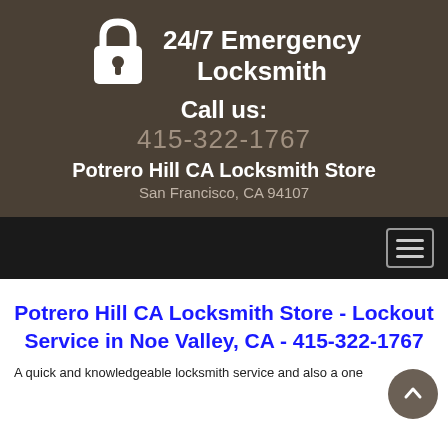[Figure (logo): White padlock icon SVG]
24/7 Emergency Locksmith
Call us:
415-322-1767
Potrero Hill CA Locksmith Store
San Francisco, CA 94107
Navigation bar with hamburger menu
Potrero Hill CA Locksmith Store - Lockout Service in Noe Valley, CA - 415-322-1767
A quick and knowledgeable locksmith service and also a one...